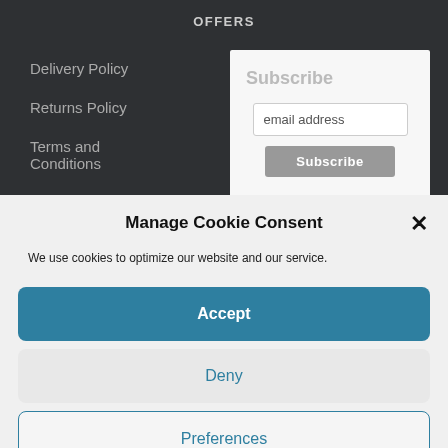OFFERS
Delivery Policy
Returns Policy
Terms and Conditions
Subscribe
email address
Subscribe
Manage Cookie Consent
We use cookies to optimize our website and our service.
Accept
Deny
Preferences